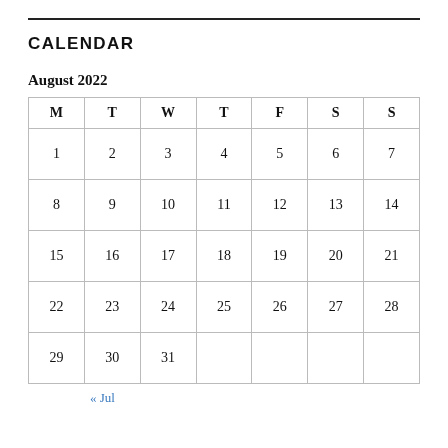CALENDAR
August 2022
| M | T | W | T | F | S | S |
| --- | --- | --- | --- | --- | --- | --- |
| 1 | 2 | 3 | 4 | 5 | 6 | 7 |
| 8 | 9 | 10 | 11 | 12 | 13 | 14 |
| 15 | 16 | 17 | 18 | 19 | 20 | 21 |
| 22 | 23 | 24 | 25 | 26 | 27 | 28 |
| 29 | 30 | 31 |  |  |  |  |
« Jul